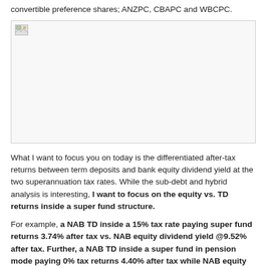convertible preference shares; ANZPC, CBAPC and WBCPC.
[Figure (other): Placeholder image area with broken image icon in top-left corner, white/light grey background with border.]
What I want to focus you on today is the differentiated after-tax returns between term deposits and bank equity dividend yield at the two superannuation tax rates. While the sub-debt and hybrid analysis is interesting, I want to focus on the equity vs. TD returns inside a super fund structure.
For example, a NAB TD inside a 15% tax rate paying super fund returns 3.74% after tax vs. NAB equity dividend yield @9.52% after tax. Further, a NAB TD inside a super fund in pension mode paying 0% tax returns 4.40% after tax while NAB equity dividend yield returns 11.2% after tax